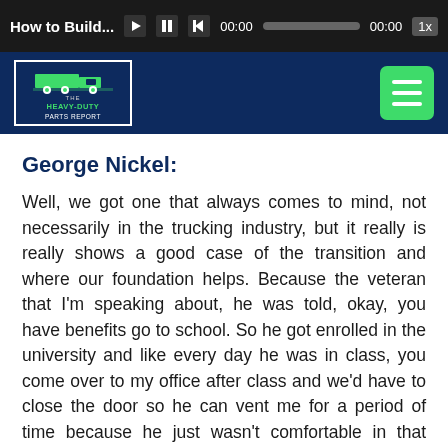How to Build... | 00:00 | 00:00 | 1x
[Figure (logo): The Heavy-Duty Parts Report logo with truck graphic in navy and green, inside a white-bordered box on a dark navy navigation band with a green hamburger menu button on the right]
George Nickel:
Well, we got one that always comes to mind, not necessarily in the trucking industry, but it really is really shows a good case of the transition and where our foundation helps. Because the veteran that I'm speaking about, he was told, okay, you have benefits go to school. So he got enrolled in the university and like every day he was in class, you come over to my office after class and we'd have to close the door so he can vent me for a period of time because he just wasn't comfortable in that environment. Didn't really fit into the higher education mold that they were looking for. And he kind of was pushed into it because people talk about, oh, well, you're not doing anything, well go